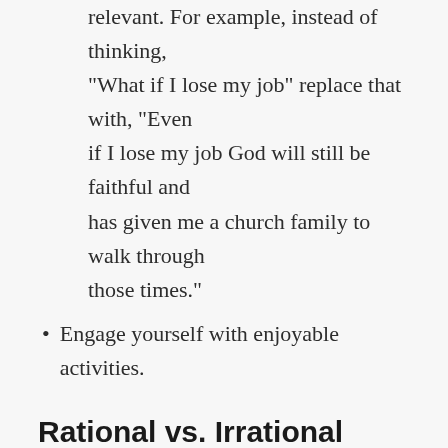relevant. For example, instead of thinking, “What if I lose my job” replace that with, “Even if I lose my job God will still be faithful and has given me a church family to walk through those times.”
Engage yourself with enjoyable activities.
Rational vs. Irrational Anxieties
An example of a rational anxiety would be, “I am concerned I may contract the virus when I go to the grocery.” An example of an irrational anxiety would be, “I am concerned I may contract the virus in my home where no one else is sick.” Rational anxieties are an emotional response to something that is possible (not necessarily probable). Irrational anxieties are an emotional response to something that is impossible or